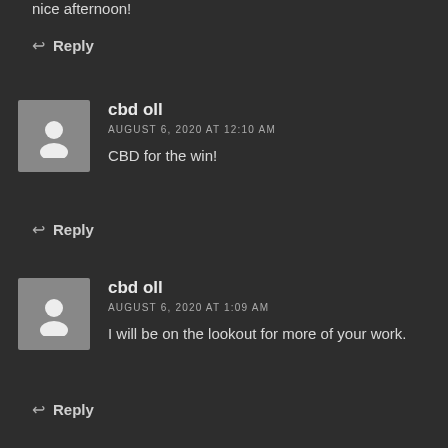nice afternoon!
↩ Reply
cbd oll
AUGUST 6, 2020 AT 12:10 AM
CBD for the win!
↩ Reply
cbd oll
AUGUST 6, 2020 AT 1:09 AM
I will be on the lookout for more of your work.
↩ Reply